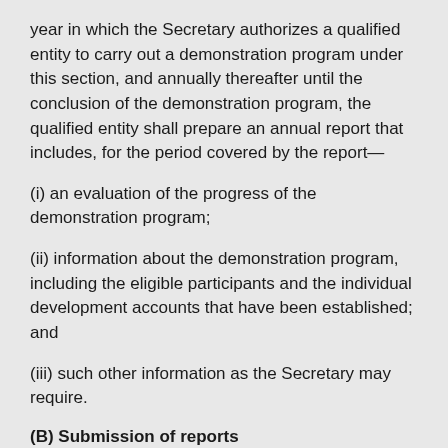year in which the Secretary authorizes a qualified entity to carry out a demonstration program under this section, and annually thereafter until the conclusion of the demonstration program, the qualified entity shall prepare an annual report that includes, for the period covered by the report—
(i) an evaluation of the progress of the demonstration program;
(ii) information about the demonstration program, including the eligible participants and the individual development accounts that have been established; and
(iii) such other information as the Secretary may require.
(B) Submission of reports
A qualified entity shall submit each report required under subparagraph (A) to the Secretary.